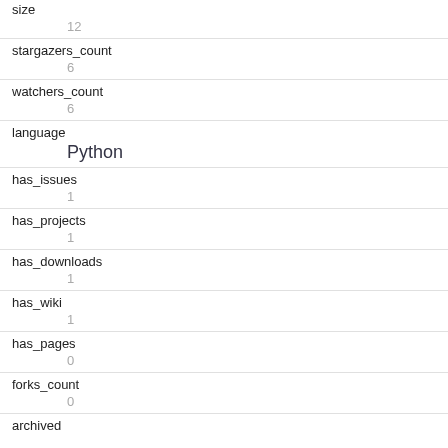| key | value |
| --- | --- |
| size | 12 |
| stargazers_count | 6 |
| watchers_count | 6 |
| language | Python |
| has_issues | 1 |
| has_projects | 1 |
| has_downloads | 1 |
| has_wiki | 1 |
| has_pages | 0 |
| forks_count | 0 |
| archived |  |